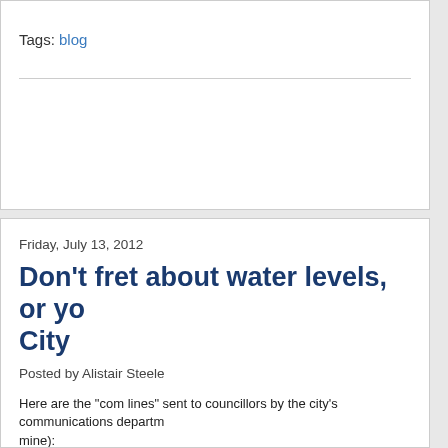Tags: blog
Friday, July 13, 2012
Don't fret about water levels, or yo City
Posted by Alistair Steele
Here are the "com lines" sent to councillors by the city's communications departm mine):
"As residents are aware, the region has been experiencing an extended period o of Ottawa actively monitors weather conditions and rates of drinking water use a has recently been high, it is not causing water production or distribution di
The City of Ottawa's central drinking water system relies upon the Ottawa River. demands, while high, are only slightly over 1% of the Ottawa River flow. In water use is not imposing a significant demand on the river.
The City's Water Bylaw provides authority to senior City staff to impose drinking